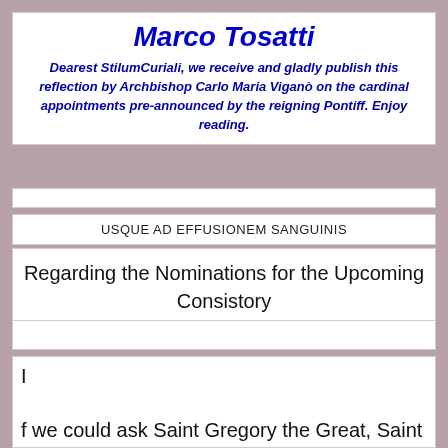Marco Tosatti
Dearest StilumCuriali, we receive and gladly publish this reflection by Archbishop Carlo Maria Viganò on the cardinal appointments pre-announced by the reigning Pontiff. Enjoy reading.
USQUE AD EFFUSIONEM SANGUINIS
Regarding the Nominations for the Upcoming Consistory
I

f we could ask Saint Gregory the Great, Saint Pius V, Blessed Pius IX, Saint Pius X, and Venerable Pius XII what were the characteristics of the best appointments to this high office...